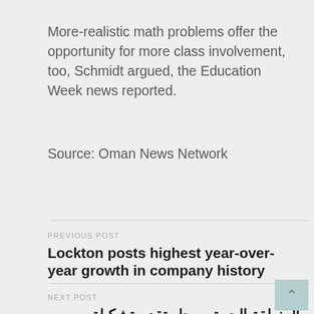More-realistic math problems offer the opportunity for more class involvement, too, Schmidt argued, the Education Week news reported.
Source: Oman News Network
PREVIOUS POST
Lockton posts highest year-over-year growth in company history
NEXT POST
المنطقة الحرة بصحار تقدم تشكيلة من الحوافز والمزايا للمستأجرين لتحقيق خططهم التوسعية